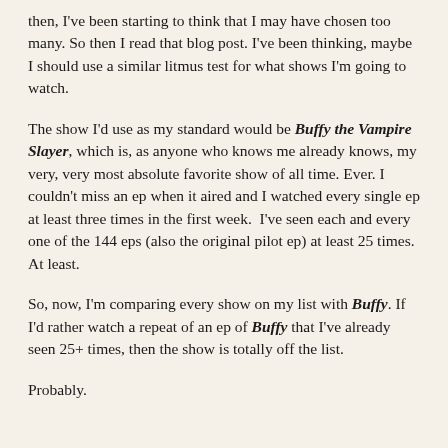then, I've been starting to think that I may have chosen too many. So then I read that blog post. I've been thinking, maybe I should use a similar litmus test for what shows I'm going to watch.
The show I'd use as my standard would be Buffy the Vampire Slayer, which is, as anyone who knows me already knows, my very, very most absolute favorite show of all time. Ever. I couldn't miss an ep when it aired and I watched every single ep at least three times in the first week.  I've seen each and every one of the 144 eps (also the original pilot ep) at least 25 times. At least.
So, now, I'm comparing every show on my list with Buffy. If I'd rather watch a repeat of an ep of Buffy that I've already seen 25+ times, then the show is totally off the list.
Probably.